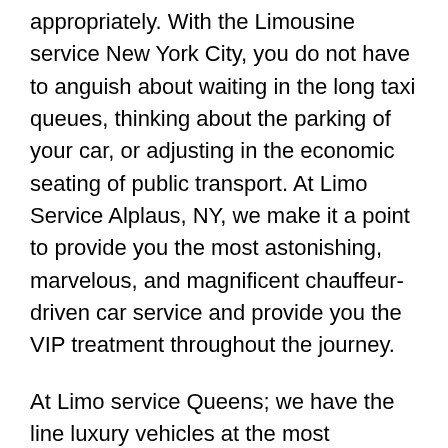appropriately. With the Limousine service New York City, you do not have to anguish about waiting in the long taxi queues, thinking about the parking of your car, or adjusting in the economic seating of public transport. At Limo Service Alplaus, NY, we make it a point to provide you the most astonishing, marvelous, and magnificent chauffeur-driven car service and provide you the VIP treatment throughout the journey.
At Limo service Queens; we have the line luxury vehicles at the most affordable and competitive price range. We at Limo Service Manhattan keep customers as our utmost priority. At Limo service Bronx, our talented and skilled ground staffs focus